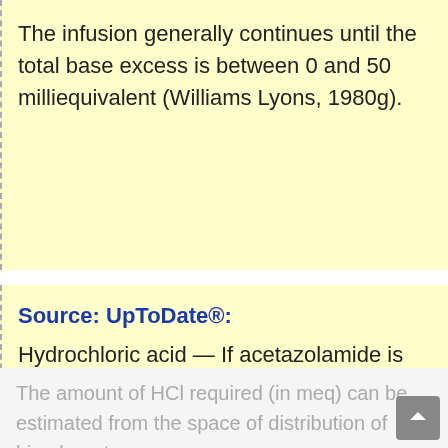The infusion generally continues until the total base excess is between 0 and 50 milliequivalent (Williams Lyons, 1980g).
Source: UpToDate®:
Hydrochloric acid — If acetazolamide is ineffective, the metabolic alkalosis can be corrected directly by the intravenous infusion of HCl, which buffers the excess bicarbonate. HCl is usually given as an isotonic solution (150 meq per liter) over 8 to 24 h. It can be infused into a major vein (since HCl is very corrosive) or into a peripheral vein if the HCl is buffered in an amino acid solution and given with a fat emulsion.
The amount of HCl required (in meq) can be estimated from the space of distribution of bicarbonate